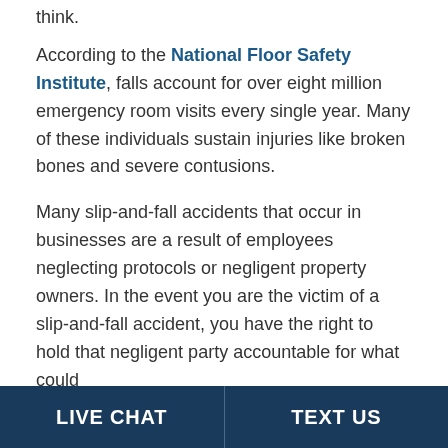think.
According to the National Floor Safety Institute, falls account for over eight million emergency room visits every single year. Many of these individuals sustain injuries like broken bones and severe contusions.
Many slip-and-fall accidents that occur in businesses are a result of employees neglecting protocols or negligent property owners. In the event you are the victim of a slip-and-fall accident, you have the right to hold that negligent party accountable for what could
LIVE CHAT | TEXT US